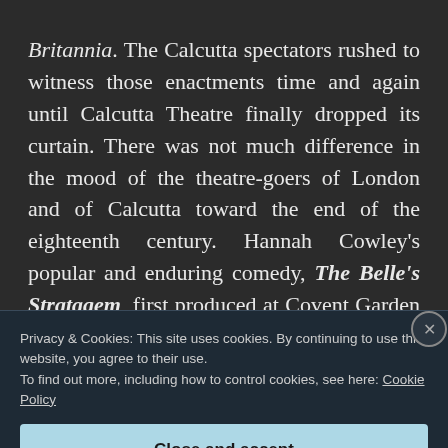Britannia. The Calcutta spectators rushed to witness those enactments time and again until Calcutta Theatre finally dropped its curtain. There was not much difference in the mood of the theatre-goers of London and of Calcutta toward the end of the eighteenth century. Hannah Cowley's popular and enduring comedy, The Belle's Stratagem, first produced at Covent Garden in 1780 was performed a hundred and eighteen times in London before the end of the
Privacy & Cookies: This site uses cookies. By continuing to use this website, you agree to their use.
To find out more, including how to control cookies, see here: Cookie Policy
Close and accept